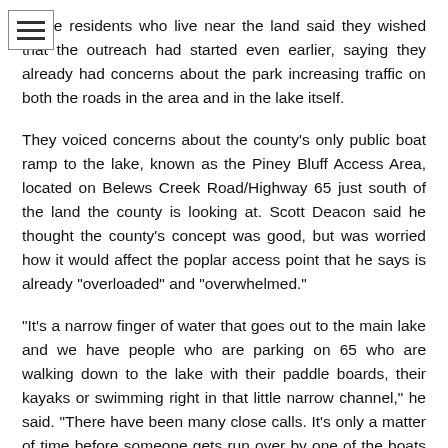Three residents who live near the land said they wished that the outreach had started even earlier, saying they already had concerns about the park increasing traffic on both the roads in the area and in the lake itself.
They voiced concerns about the county's only public boat ramp to the lake, known as the Piney Bluff Access Area, located on Belews Creek Road/Highway 65 just south of the land the county is looking at. Scott Deacon said he thought the county's concept was good, but was worried how it would affect the poplar access point that he says is already "overloaded" and "overwhelmed."
"It's a narrow finger of water that goes out to the main lake and we have people who are parking on 65 who are walking down to the lake with their paddle boards, their kayaks or swimming right in that little narrow channel," he said. "There have been many close calls. It's only a matter of time before someone gets run over by one of the boats coming from that launch ramp."
Deacon said the potential park land is surrounded by homes. He hopes the county will consult residents on the park.
Residents Roy Boykin and Brad Carrier agreed. Carrier added that he hopes residents have a say on access to Belews Lake, one of it...